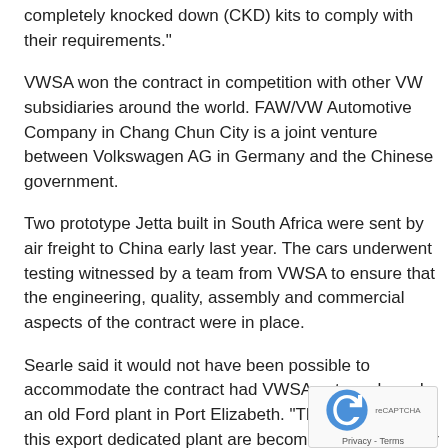completely knocked down (CKD) kits to comply with their requirements."
VWSA won the contract in competition with other VW subsidiaries around the world. FAW/VW Automotive Company in Chang Chun City is a joint venture between Volkswagen AG in Germany and the Chinese government.
Two prototype Jetta built in South Africa were sent by air freight to China early last year. The cars underwent testing witnessed by a team from VWSA to ensure that the engineering, quality, assembly and commercial aspects of the contract were in place.
Searle said it would not have been possible to accommodate the contract had VWSA not purchased an old Ford plant in Port Elizabeth. "The activities at this export dedicated plant are becoming a major factor in our total business.
"The development of the left-hand drive production